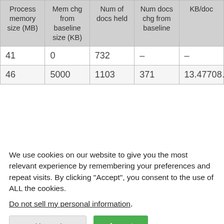| Process memory size (MB) | Mem chg from baseline size (KB) | Num of docs held | Num docs chg from baseline | KB/doc |
| --- | --- | --- | --- | --- |
| 41 | 0 | 732 | – | – |
| 46 | 5000 | 1103 | 371 | 13.47708… |
We use cookies on our website to give you the most relevant experience by remembering your preferences and repeat visits. By clicking "Accept", you consent to the use of ALL the cookies.
Do not sell my personal information.